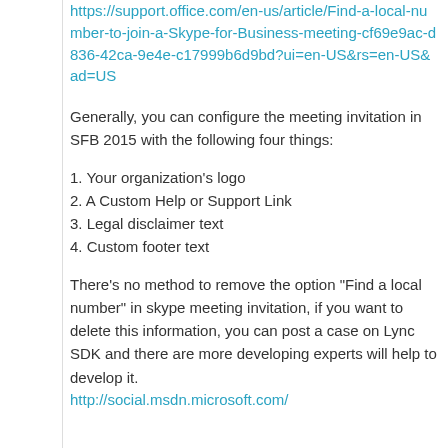https://support.office.com/en-us/article/Find-a-local-number-to-join-a-Skype-for-Business-meeting-cf69e9ac-d836-42ca-9e4e-c17999b6d9bd?ui=en-US&rs=en-US&ad=US
Generally, you can configure the meeting invitation in SFB 2015 with the following four things:
1. Your organization's logo
2. A Custom Help or Support Link
3. Legal disclaimer text
4. Custom footer text
There’s no method to remove the option “Find a local number” in skype meeting invitation, if you want to delete this information, you can post a case on Lync SDK and there are more developing experts will help to develop it.
http://social.msdn.microsoft.com/